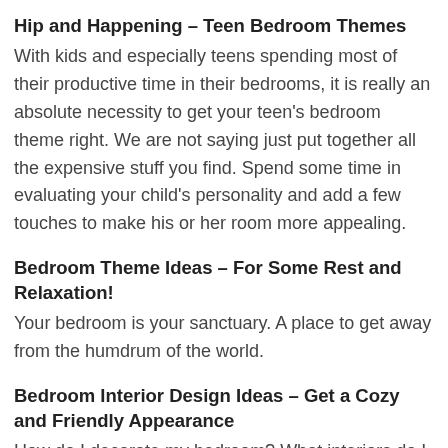Hip and Happening – Teen Bedroom Themes
With kids and especially teens spending most of their productive time in their bedrooms, it is really an absolute necessity to get your teen's bedroom theme right. We are not saying just put together all the expensive stuff you find. Spend some time in evaluating your child's personality and add a few touches to make his or her room more appealing.
Bedroom Theme Ideas – For Some Rest and Relaxation!
Your bedroom is your sanctuary. A place to get away from the humdrum of the world.
Bedroom Interior Design Ideas – Get a Cozy and Friendly Appearance
How do I decorate my bedroom? What interiors do I use? These are few questions that give us nightmares when we